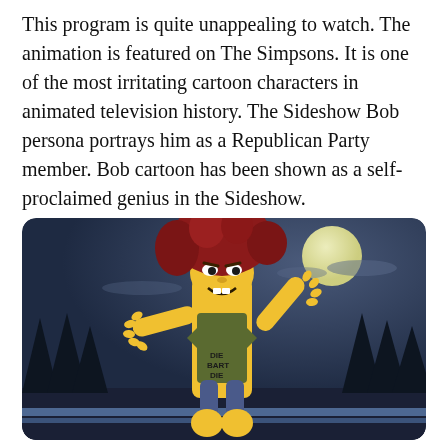This program is quite unappealing to watch. The animation is featured on The Simpsons. It is one of the most irritating cartoon characters in animated television history. The Sideshow Bob persona portrays him as a Republican Party member. Bob cartoon has been shown as a self-proclaimed genius in the Sideshow.
[Figure (illustration): Animated screenshot from The Simpsons showing Sideshow Bob, a tall yellow cartoon character with large red hair, wearing a tattered olive shirt with 'DIE BART DIE' tattooed on his chest, arms outstretched menacingly, against a dark night sky with a full moon, with Bart Simpson partially visible at the bottom. Trees are silhouetted in the background.]